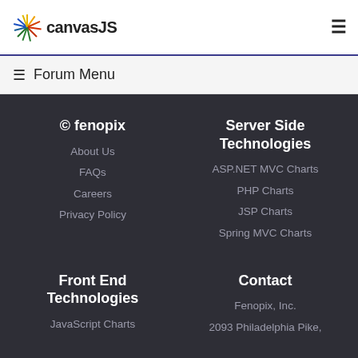canvasJS
≡ Forum Menu
© fenopix
About Us
FAQs
Careers
Privacy Policy
Server Side Technologies
ASP.NET MVC Charts
PHP Charts
JSP Charts
Spring MVC Charts
Front End Technologies
JavaScript Charts
Contact
Fenopix, Inc.
2093 Philadelphia Pike,